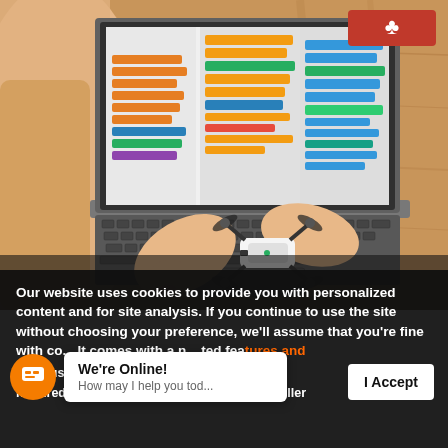[Figure (photo): Child's hands holding a small drone (DJI Tello) placed on a laptop keyboard, with a Scratch programming interface visible on the laptop screen showing colorful code blocks. Wood table background. Red logo badge in top right corner.]
Our website uses cookies to provide you with personalized content and for site analysis. If you continue to use the site without choosing your preference, we'll assume that you're fine with co... It comes with a ... ted features and a v... just under a hundred bucks, the Tello even includes propeller
We're Online! How may I help you tod...
I Accept